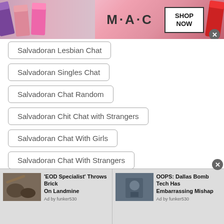[Figure (photo): MAC cosmetics advertisement banner with colorful lipsticks and SHOP NOW box]
Salvadoran Lesbian Chat
Salvadoran Singles Chat
Salvadoran Chat Random
Salvadoran Chit Chat with Strangers
Salvadoran Chat With Girls
Salvadoran Chat With Strangers
Salvadoran Local Chat
[Figure (screenshot): Bottom ad bar with two sponsored news items: 'EOD Specialist Throws Brick On Landmine' and 'OOPS: Dallas Bomb Tech Has Embarrassing Mishap', both Ad by funker530]